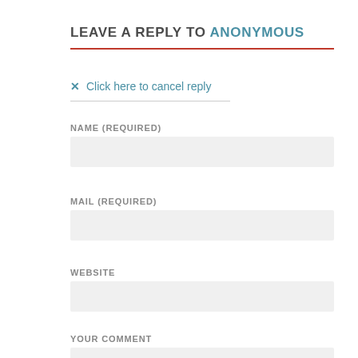LEAVE A REPLY TO ANONYMOUS
✕ Click here to cancel reply
NAME (REQUIRED)
MAIL (REQUIRED)
WEBSITE
YOUR COMMENT